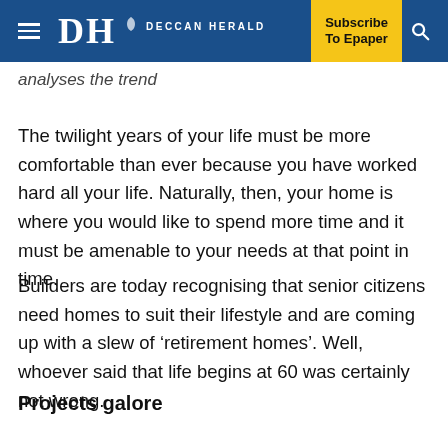DH DECCAN HERALD | Subscribe To Epaper
analyses the trend
The twilight years of your life must be more comfortable than ever because you have worked hard all your life. Naturally, then, your home is where you would like to spend more time and it must be amenable to your needs at that point in time.
Builders are today recognising that senior citizens need homes to suit their lifestyle and are coming up with a slew of ‘retirement homes’. Well, whoever said that life begins at 60 was certainly not wrong.
Projects galore